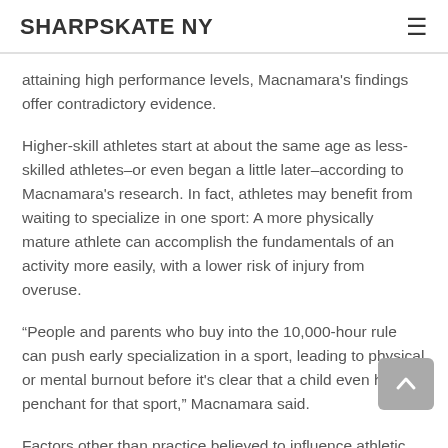SHARPSKATE NY
attaining high performance levels, Macnamara's findings offer contradictory evidence.
Higher-skill athletes start at about the same age as less-skilled athletes–or even began a little later–according to Macnamara's research. In fact, athletes may benefit from waiting to specialize in one sport: A more physically mature athlete can accomplish the fundamentals of an activity more easily, with a lower risk of injury from overuse.
“People and parents who buy into the 10,000-hour rule can push early specialization in a sport, leading to physical or mental burnout before it's clear that a child even has a penchant for that sport,” Macnamara said.
Factors other than practice believed to influence athletic